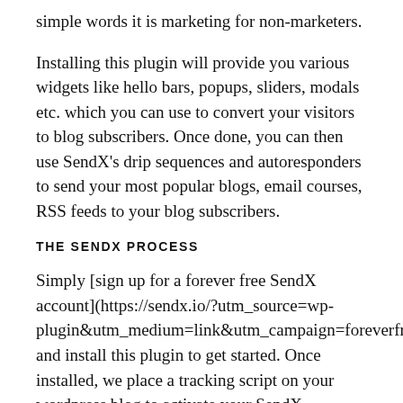simple words it is marketing for non-marketers.
Installing this plugin will provide you various widgets like hello bars, popups, sliders, modals etc. which you can use to convert your visitors to blog subscribers. Once done, you can then use SendX's drip sequences and autoresponders to send your most popular blogs, email courses, RSS feeds to your blog subscribers.
THE SENDX PROCESS
Simply [sign up for a forever free SendX account](https://sendx.io/?utm_source=wp-plugin&utm_medium=link&utm_campaign=foreverfree) and install this plugin to get started. Once installed, we place a tracking script on your wordpress blog to activate your SendX account's features.